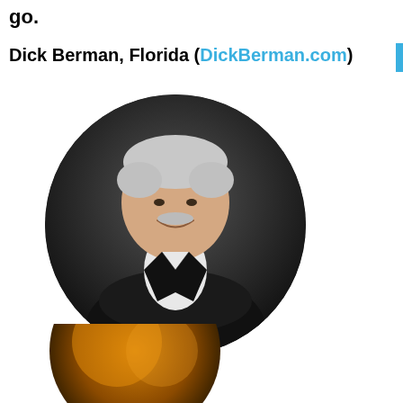go.
Dick Berman, Florida (DickBerman.com)
[Figure (photo): Circular headshot of an older man with white hair and mustache, wearing a dark blazer and white shirt, arms crossed, smiling, on a dark gradient background.]
[Figure (photo): Partial circular photo at bottom of page, showing warm orange/gold tones, person partially visible.]